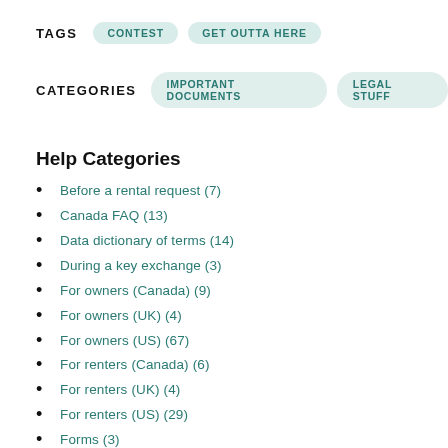TAGS   CONTEST   GET OUTTA HERE
CATEGORIES   IMPORTANT DOCUMENTS   LEGAL STUFF
Help Categories
Before a rental request (7)
Canada FAQ (13)
Data dictionary of terms (14)
During a key exchange (3)
For owners (Canada) (9)
For owners (UK) (4)
For owners (US) (67)
For renters (Canada) (6)
For renters (UK) (4)
For renters (US) (29)
Forms (3)